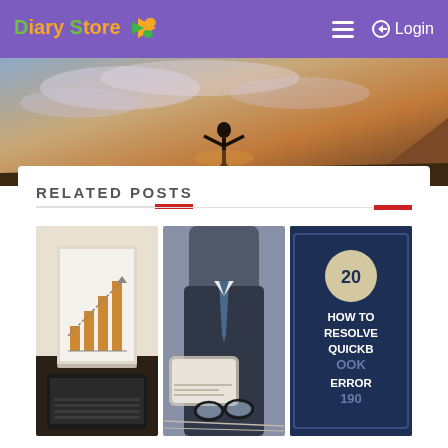[Figure (screenshot): Website header with purple background showing 'Diary Store' logo in green and orange, hamburger menu icon, and Login button on the right]
[Figure (photo): Hero banner image showing a silhouette of a person with arms raised on a cliff at sunset with dramatic sky]
RELATED POSTS
[Figure (photo): Thumbnail 1: Laptop with a bar chart/graph on screen]
[Figure (photo): Thumbnail 2: Business person in suit reviewing documents with glasses on papers]
[Figure (screenshot): Thumbnail 3: Dark blue card with badge '20' and text 'HOW TO RESOLVE QUICKBOOK ERROR 190' (partially visible)]